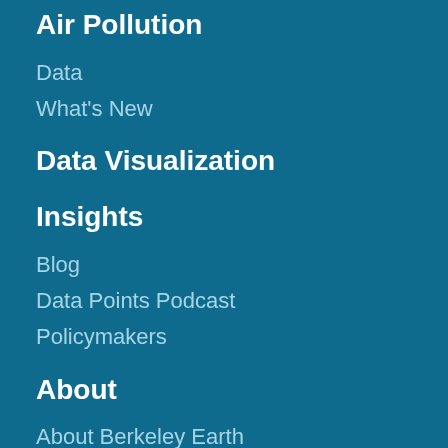Air Pollution
Data
What's New
Data Visualization
Insights
Blog
Data Points Podcast
Policymakers
About
About Berkeley Earth
Our Impact
Team
Board of Directors